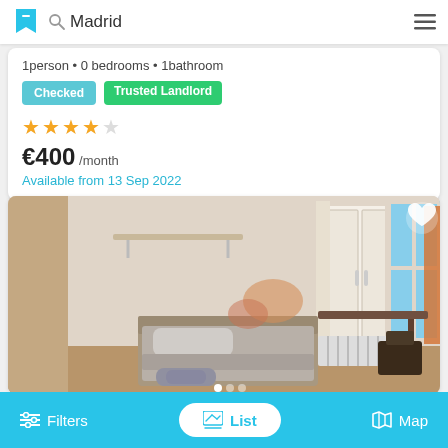Madrid
1 person • 0 bedrooms • 1 bathroom
Checked   Trusted Landlord
★★★★☆
€400 /month
Available from 13 Sep 2022
[Figure (photo): Interior of a bedroom with a single bed, wall shelf, window with shutters, white wardrobe, radiator, and desk with chair.]
Filters   List   Map